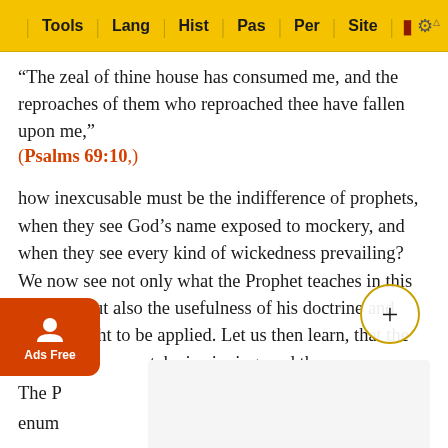Tools | Lang | Hist | Pas | Per | Site
“The zeal of thine house has consumed me, and the reproaches of them who reproached thee have fallen upon me,”
(Psalms 69:10,)
how inexcusable must be the indifference of prophets, when they see God’s name exposed to mockery, and when they see every kind of wickedness prevailing? We now see not only what the Prophet teaches in this passage, but also the usefulness of his doctrine and how it ought to be applied. Let us then learn, that the more liberty men take in sinning, and the more audaciously their impiety and contempt of God break out, the more sharply ought prophets and faithful teachers to reprove and condemn them; and that it is th… of fighting, when the world thus presumptuously …ously rise up against God.
The P……not enum……he